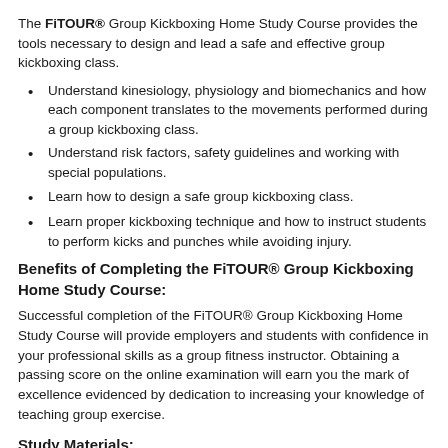The FiTOUR® Group Kickboxing Home Study Course provides the tools necessary to design and lead a safe and effective group kickboxing class.
Understand kinesiology, physiology and biomechanics and how each component translates to the movements performed during a group kickboxing class.
Understand risk factors, safety guidelines and working with special populations.
Learn how to design a safe group kickboxing class.
Learn proper kickboxing technique and how to instruct students to perform kicks and punches while avoiding injury.
Benefits of Completing the FiTOUR® Group Kickboxing Home Study Course:
Successful completion of the FiTOUR® Group Kickboxing Home Study Course will provide employers and students with confidence in your professional skills as a group fitness instructor. Obtaining a passing score on the online examination will earn you the mark of excellence evidenced by dedication to increasing your knowledge of teaching group exercise.
Study Materials: